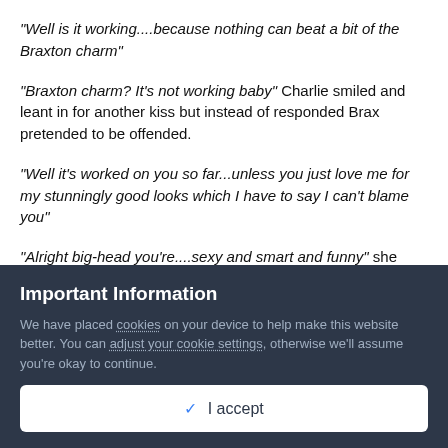“Well is it working....because nothing can beat a bit of the Braxton charm”
“Braxton charm? It’s not working baby” Charlie smiled and leant in for another kiss but instead of responded Brax pretended to be offended.
“Well it’s worked on you so far...unless you just love me for my stunningly good looks which I have to say I can’t blame you”
“Alright big-head you’re....sexy and smart and funny” she gabbled putting her police shirt on. “But I have to go to work”
Brax sighed but didn’t protest as much. He gazed at her while she got ready; smiling each time they made eye contact. He knew
Important Information
We have placed cookies on your device to help make this website better. You can adjust your cookie settings, otherwise we’ll assume you’re okay to continue.
✓  I accept